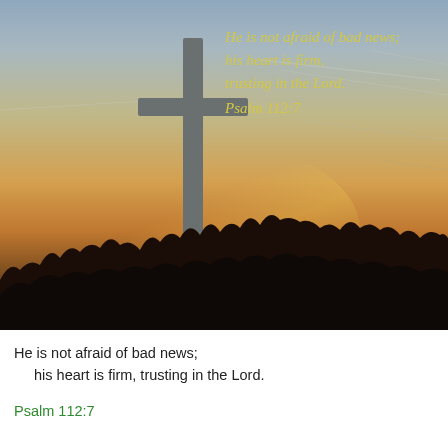[Figure (photo): Photograph of a tall Christian cross silhouette against a sunset sky with warm orange and yellow tones, with dark tree silhouettes along the bottom. Text overlay in italic yellow script reads: He is not afraid of bad news; his heart is firm, trusting in the Lord. Psalm 112:7]
He is not afraid of bad news;
   his heart is firm, trusting in the Lord.
Psalm 112:7